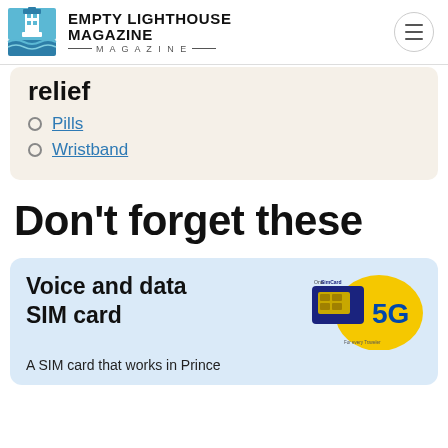Empty Lighthouse Magazine
relief
Pills
Wristband
Don't forget these
Voice and data SIM card
A SIM card that works in Prince